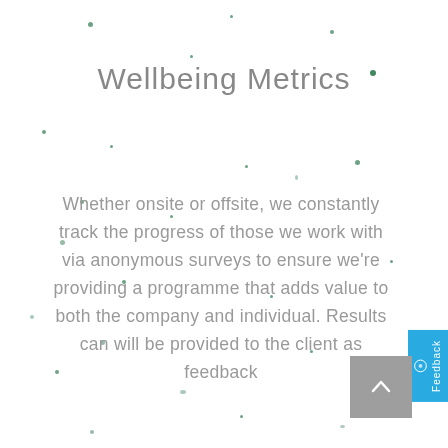Wellbeing Metrics
Whether onsite or offsite, we constantly track the progress of those we work with via anonymous surveys to ensure we're providing a programme that adds value to both the company and individual. Results can will be provided to the client as feedback